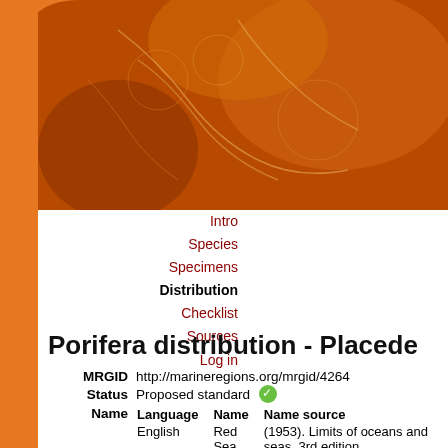[Figure (illustration): World Porifera Database website header with orange/brown sponge coral background and large white text 'WORLD PORI' visible]
WORLD PORI
Intro
Species
Specimens
Distribution
Checklist
Sources
Log in
Porifera distribution - Placede
| Field | Value |
| --- | --- |
| MRGID | http://marineregions.org/mrgid/4264 |
| Status | Proposed standard |
| Name / Language | English |
| Name / Name | Red Sea |
| Name / Name source | (1953). Limits of oceans and seas. 3rd edition. Organization (IHO): Monaco. 38 pp. (look up i |
| PlaceType | IHO Sea Area |
| Latitude | 20° 18' 56.6" N (20.31573096°) |
| Longitude | 38° 44' 6.2" E (38.73504211°) |
| Precision | 1009143 meter |